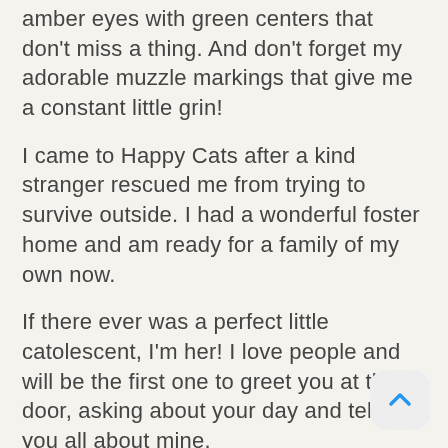amber eyes with green centers that don't miss a thing. And don't forget my adorable muzzle markings that give me a constant little grin!
I came to Happy Cats after a kind stranger rescued me from trying to survive outside. I had a wonderful foster home and am ready for a family of my own now.
If there ever was a perfect little catolescent, I'm her! I love people and will be the first one to greet you at the door, asking about your day and telling you all about mine.
I'm a true Party Animal who wants to follow you everywhere and get your attention no matter what! I'm a fierce hunter of toys and will play with anything.
After playtime is over, I'm ready to settle in for some laptime with all my favorite